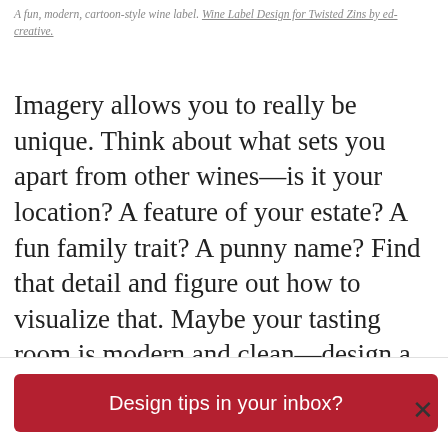A fun, modern, cartoon-style wine label. Wine Label Design for Twisted Zins by ed-creative.
Imagery allows you to really be unique. Think about what sets you apart from other wines—is it your location? A feature of your estate? A fun family trait? A punny name? Find that detail and figure out how to visualize that. Maybe your tasting room is modern and clean—design a label with lots of white space and an elegant sans-serif font to match. Got a dog that loves to play fetch with your visitors? Maybe a fun ink-blog style drawing of her for
Design tips in your inbox?